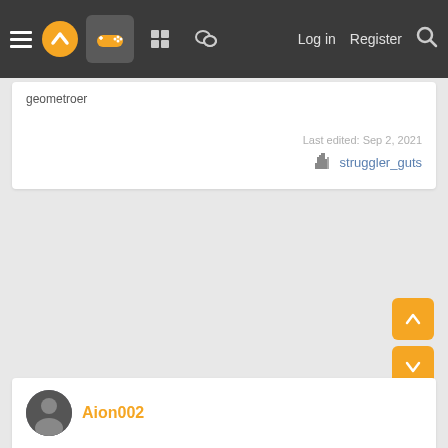Navigation bar with hamburger menu, logo, game controller icon, forum icons, Log in, Register, Search
geometroer
Last edited: Sep 2, 2021
struggler_guts
Aion002